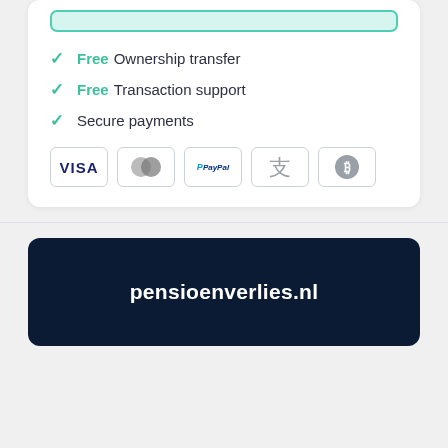Free Ownership transfer
Free Transaction support
Secure payments
[Figure (infographic): Payment method icons: VISA, Mastercard, PayPal, Alipay, Bitcoin]
pensioenverlies.nl